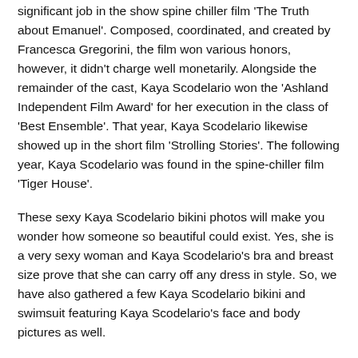Twenty... in the year 2013, Kaya Scodelario assumed a significant job in the show spine chiller film 'The Truth about Emanuel'. Composed, coordinated, and created by Francesca Gregorini, the film won various honors, however, it didn't charge well monetarily. Alongside the remainder of the cast, Kaya Scodelario won the 'Ashland Independent Film Award' for her execution in the class of 'Best Ensemble'. That year, Kaya Scodelario likewise showed up in the short film 'Strolling Stories'. The following year, Kaya Scodelario was found in the spine-chiller film 'Tiger House'.
These sexy Kaya Scodelario bikini photos will make you wonder how someone so beautiful could exist. Yes, she is a very sexy woman and Kaya Scodelario's bra and breast size prove that she can carry off any dress in style. So, we have also gathered a few Kaya Scodelario bikini and swimsuit featuring Kaya Scodelario's face and body pictures as well.